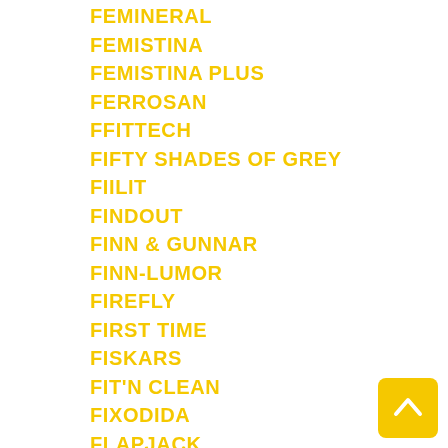FEMINERAL
FEMISTINA
FEMISTINA PLUS
FERROSAN
FFITTECH
FIFTY SHADES OF GREY
FIILIT
FINDOUT
FINN & GUNNAR
FINN-LUMOR
FIREFLY
FIRST TIME
FISKARS
FIT'N CLEAN
FIXODIDA
FLAPJACK
FLESHLIGHT
FLOREALIS
FLOWLIFE
FLUDENT
FLUX
FÖLLINGE
FOOD STUDIO